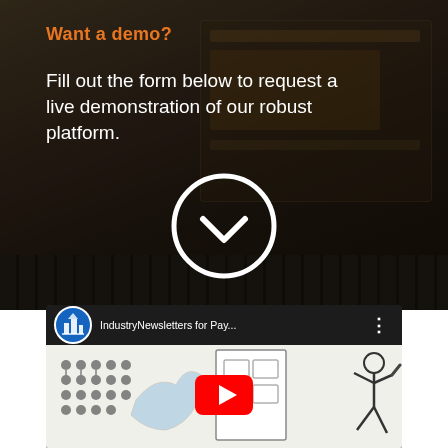Want a demo?
Fill out the form below to request a live demonstration of our robust platform.
[Figure (screenshot): Dark overlay background with laptop/dashboard screenshot and a circular white chevron/checkmark button in the center]
[Figure (screenshot): YouTube video embed showing IndustryNewsletters for Pay... channel with a whiteboard animation thumbnail featuring stick figures and a YouTube play button]